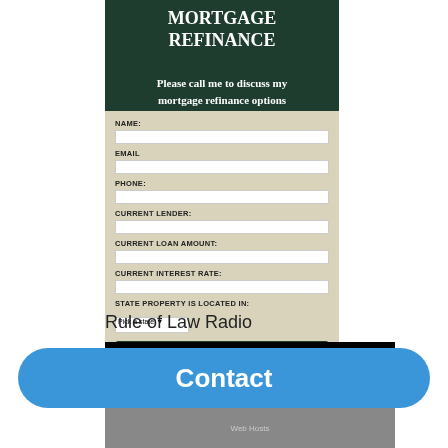MORTGAGE REFINANCE
Please call me to discuss my mortgage refinance options
[Figure (screenshot): A mortgage refinance contact form with fields for Name, Email, Phone, Current Lender, Current Loan Amount, Current Interest Rate, and State Property is Located In (with a pick a state dropdown), plus a Submit button. Form sits on a beige/tan background.]
Rule of Law Radio
[Figure (screenshot): Dark black banner with gold italic text showing Rule of Law Radio]
Contact